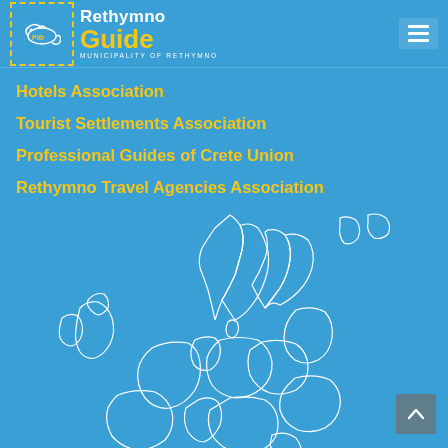Rethymno Guide - Municipality of Rethymno
Hotels Association
Tourist Settlements Association
Professional Guides of Crete Union
Rethymno Travel Agencies Association
[Figure (map): White outline map of Europe on blue background showing country borders]